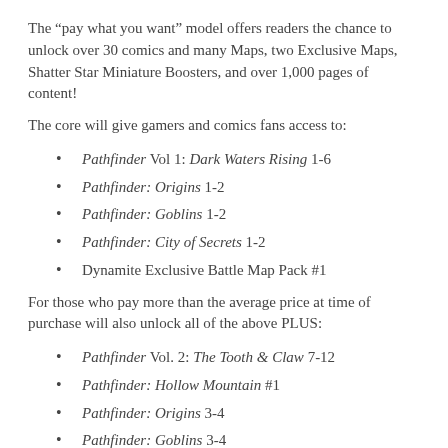The “pay what you want” model offers readers the chance to unlock over 30 comics and many Maps, two Exclusive Maps, Shatter Star Miniature Boosters, and over 1,000 pages of content!
The core will give gamers and comics fans access to:
Pathfinder Vol 1: Dark Waters Rising 1-6
Pathfinder: Origins 1-2
Pathfinder: Goblins 1-2
Pathfinder: City of Secrets 1-2
Dynamite Exclusive Battle Map Pack #1
For those who pay more than the average price at time of purchase will also unlock all of the above PLUS:
Pathfinder Vol. 2: The Tooth & Claw 7-12
Pathfinder: Hollow Mountain #1
Pathfinder: Origins 3-4
Pathfinder: Goblins 3-4
Pathfinder: City of Secrets 3-4
Pathfinder Special 2013
Dynamite Exclusive Battle Map Pack #2